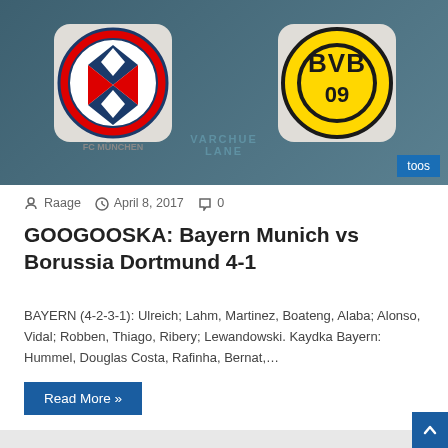[Figure (photo): FC Bayern München and Borussia Dortmund (BVB 09) club logos side by side on a teal/grey background with a 'toos' tag in bottom right corner]
Raage  April 8, 2017  0
GOOGOOSKA: Bayern Munich vs Borussia Dortmund 4-1
BAYERN (4-2-3-1): Ulreich; Lahm, Martinez, Boateng, Alaba; Alonso, Vidal; Robben, Thiago, Ribery; Lewandowski. Kaydka Bayern: Hummel, Douglas Costa, Rafinha, Bernat,…
Read More »